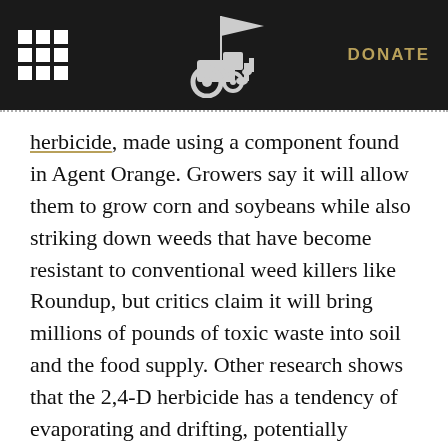DONATE
herbicide, made using a component found in Agent Orange. Growers say it will allow them to grow corn and soybeans while also striking down weeds that have become resistant to conventional weed killers like Roundup, but critics claim it will bring millions of pounds of toxic waste into soil and the food supply. Other research shows that the 2,4-D herbicide has a tendency of evaporating and drifting, potentially allowing the chemical to spread to other farms and contaminate other plants that may not be resistant to it.
'If they're not sick, don't medicate them' seems to